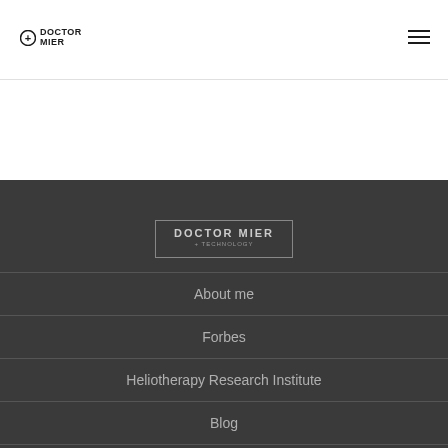DOCTOR MIER
[Figure (logo): Doctor Mier logo with plus icon and text in footer area]
About me
Forbes
Heliotherapy Research Institute
Blog
Cancer
Hyperhidrosis